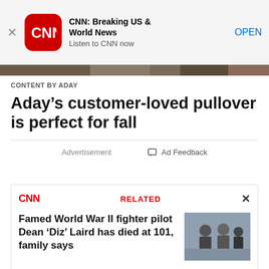[Figure (screenshot): CNN app banner with red CNN logo icon, app name 'CNN: Breaking US & World News', subtitle 'Listen to CNN now', and OPEN button. X close button on left.]
[Figure (photo): Thin horizontal image strip partially visible]
CONTENT BY ADAY
Aday’s customer-loved pullover is perfect for fall
Advertisement
Ad Feedback
[Figure (screenshot): Related article card: CNN logo in red, RELATED label in red, X close button. Headline: 'Famed World War II fighter pilot Dean ‘Diz’ Laird has died at 101, family says' with thumbnail photo of military personnel.]